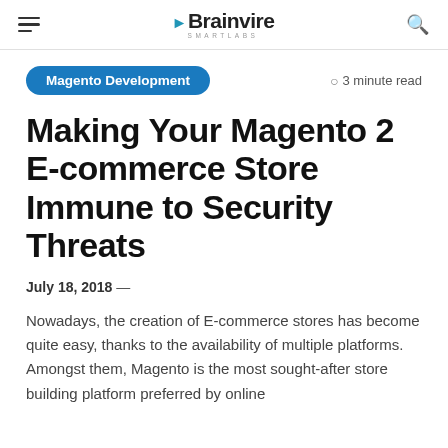Brainvire Smartlabs
Magento Development
3 minute read
Making Your Magento 2 E-commerce Store Immune to Security Threats
July 18, 2018 —
Nowadays, the creation of E-commerce stores has become quite easy, thanks to the availability of multiple platforms. Amongst them, Magento is the most sought-after store building platform preferred by online